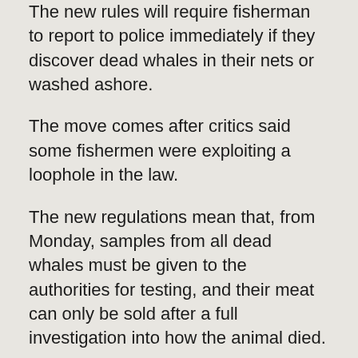The new rules will require fisherman to report to police immediately if they discover dead whales in their nets or washed ashore.
The move comes after critics said some fishermen were exploiting a loophole in the law.
The new regulations mean that, from Monday, samples from all dead whales must be given to the authorities for testing, and their meat can only be sold after a full investigation into how the animal died.
Those who catch dead whales will also only be allowed to process and sell them at state-designated facilities, South Korea's agricultural ministry said.
The new law aims to tackle a “growing amount of illegal whale hunting” around the country, it said, according to AFP news agency.